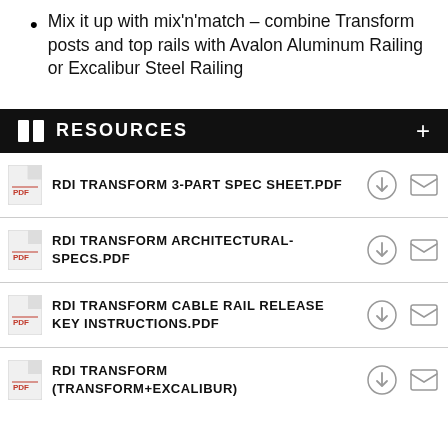Mix it up with mix'n'match – combine Transform posts and top rails with Avalon Aluminum Railing or Excalibur Steel Railing
RESOURCES
RDI TRANSFORM 3-PART SPEC SHEET.PDF
RDI TRANSFORM ARCHITECTURAL-SPECS.PDF
RDI TRANSFORM CABLE RAIL RELEASE KEY INSTRUCTIONS.PDF
RDI TRANSFORM (TRANSFORM+EXCALIBUR)